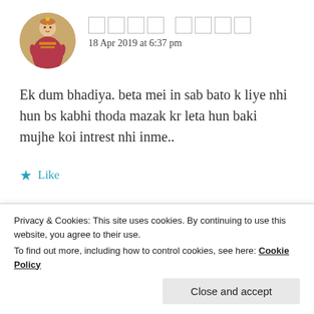[Figure (photo): Circular avatar of a woman in traditional Indian attire with jewelry]
18 Apr 2019 at 6:37 pm
Ek dum bhadiya. beta mei in sab bato k liye nhi hun bs kabhi thoda mazak kr leta hun baki mujhe koi intrest nhi inme..
Like
[Figure (photo): Circular avatar with brown/maroon color, partial view of second commenter]
ZEALOUS HOMO SAPIENS
Privacy & Cookies: This site uses cookies. By continuing to use this website, you agree to their use.
To find out more, including how to control cookies, see here: Cookie Policy